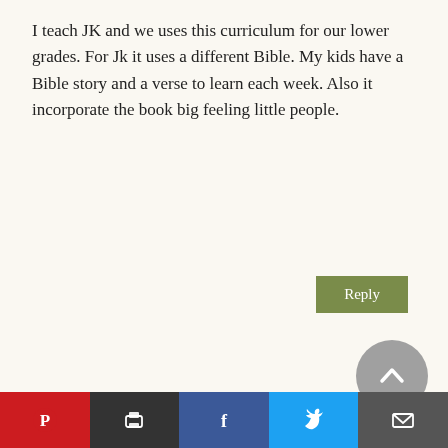I teach JK and we uses this curriculum for our lower grades. For Jk it uses a different Bible. My kids have a Bible story and a verse to learn each week. Also it incorporate the book big feeling little people.
Reply
Lauren Hill
July 23, 2021 at 3:36 pm
Hey Melissa, I never used a preschool